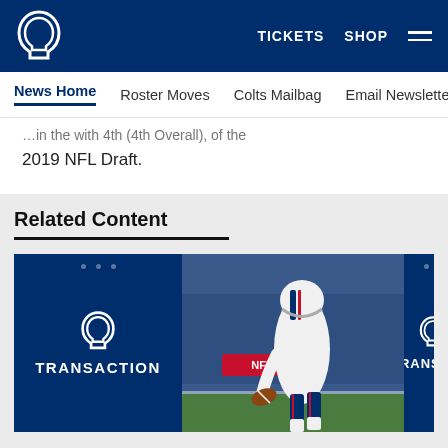Indianapolis Colts — TICKETS SHOP [menu]
News Home | Roster Moves | Colts Mailbag | Email Newsletter
…in the with 4th (4th Overall) of the 2019 NFL Draft.
Related Content
[Figure (photo): Left card: Colts Transaction graphic (dark blue, horseshoe logo, TRANSACTION text). Center card: Photo of a Buffalo Bills punter/player in white uniform bending to pick up a football on the field, crowd in background. Right card: Partially visible Colts Transaction graphic.]
[Figure (infographic): Social sharing icons row: Facebook, Twitter, Email, Link]